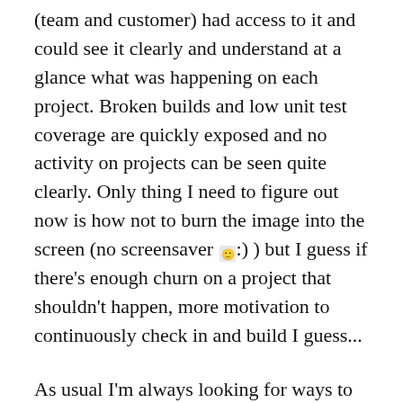(team and customer) had access to it and could see it clearly and understand at a glance what was happening on each project. Broken builds and low unit test coverage are quickly exposed and no activity on projects can be seen quite clearly. Only thing I need to figure out now is how not to burn the image into the screen (no screensaver 🙂 ) but I guess if there's enough churn on a project that shouldn't happen, more motivation to continuously check in and build I guess...
As usual I'm always looking for ways to improve so feedback is more than welcome. Can you think of ways to improve what I've done?